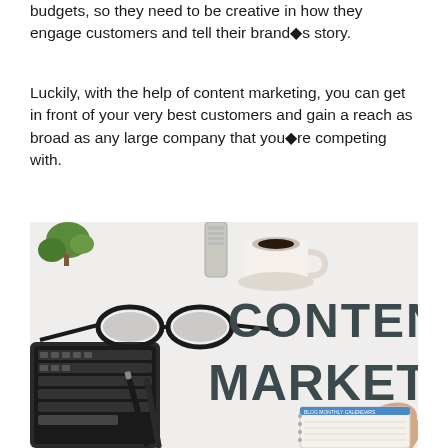budgets, so they need to be creative in how they engage customers and tell their brand■s story.
Luckily, with the help of content marketing, you can get in front of your very best customers and gain a reach as broad as any large company that you■re competing with.
[Figure (photo): A flat-lay photo of a desk with a keyboard, glasses, pens, a coffee cup, a potted plant, and large 3D block letters spelling CONTENT MARKETING, with a hand pointing at the letters and a notebook visible at the bottom.]